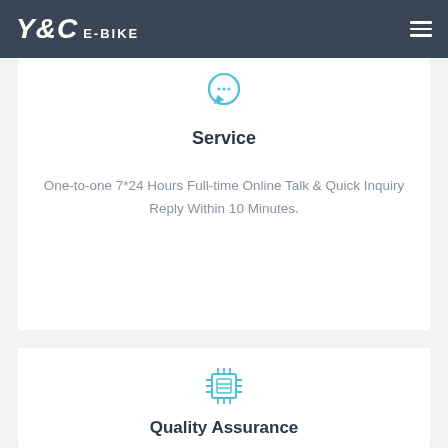Y&C E-BIKE
[Figure (illustration): Circular chat/service icon in teal/cyan color]
Service
One-to-one 7*24 Hours Full-time Online Talk & Quick Inquiry Reply Within 10 Minutes.
[Figure (illustration): Microchip/processor icon in teal/cyan color]
Quality Assurance